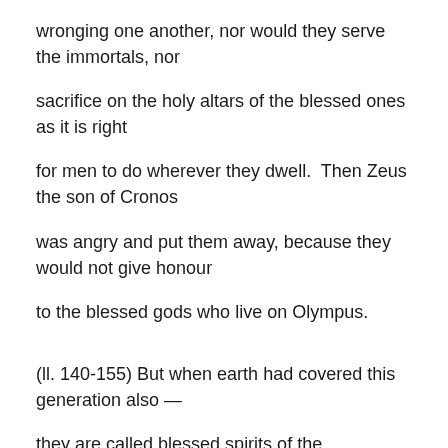wronging one another, nor would they serve the immortals, nor
sacrifice on the holy altars of the blessed ones as it is right
for men to do wherever they dwell.  Then Zeus the son of Cronos
was angry and put them away, because they would not give honour
to the blessed gods who live on Olympus.
(ll. 140-155) But when earth had covered this generation also —
they are called blessed spirits of the underworld by men,